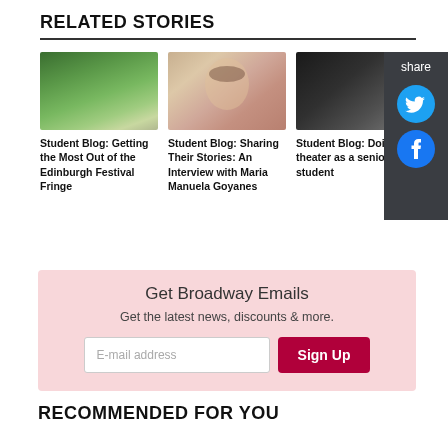RELATED STORIES
[Figure (photo): Aerial view of Edinburgh festival buildings surrounded by greenery]
Student Blog: Getting the Most Out of the Edinburgh Festival Fringe
[Figure (photo): Portrait of Maria Manuela Goyanes, a woman with short dark hair and red lipstick]
Student Blog: Sharing Their Stories: An Interview with Maria Manuela Goyanes
[Figure (photo): Dark theater interior scene]
Student Blog: Doing theater as a senior student
share
Get Broadway Emails
Get the latest news, discounts & more.
RECOMMENDED FOR YOU